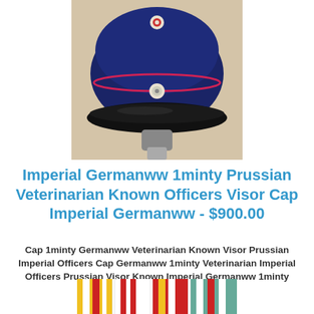[Figure (photo): Navy blue German WWI Prussian officer visor cap with pink/red piping and two buttons, displayed on a stand against a beige background.]
Imperial Germanww 1minty Prussian Veterinarian Known Officers Visor Cap Imperial Germanww - $900.00
Cap 1minty Germanww Veterinarian Known Visor Prussian Imperial Officers Cap Germanww 1minty Veterinarian Imperial Officers Prussian Visor Known Imperial Germanww 1minty
[Figure (photo): Colorful military ribbon bars with stripes of yellow, white, red, and teal/green colors.]